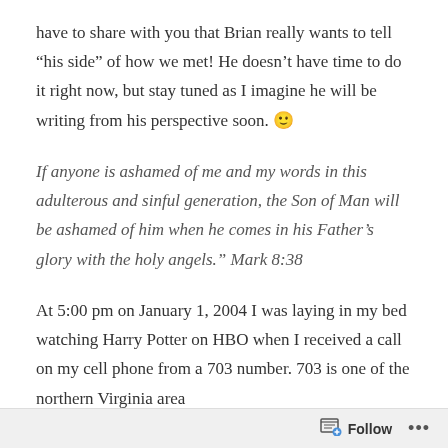have to share with you that Brian really wants to tell “his side” of how we met! He doesn’t have time to do it right now, but stay tuned as I imagine he will be writing from his perspective soon. 🙂
If anyone is ashamed of me and my words in this adulterous and sinful generation, the Son of Man will be ashamed of him when he comes in his Father’s glory with the holy angels.” Mark 8:38
At 5:00 pm on January 1, 2004 I was laying in my bed watching Harry Potter on HBO when I received a call on my cell phone from a 703 number. 703 is one of the northern Virginia area
Follow ...